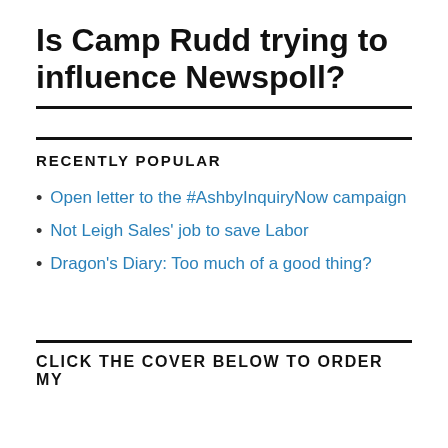Is Camp Rudd trying to influence Newspoll?
RECENTLY POPULAR
Open letter to the #AshbyInquiryNow campaign
Not Leigh Sales' job to save Labor
Dragon's Diary: Too much of a good thing?
CLICK THE COVER BELOW TO ORDER MY